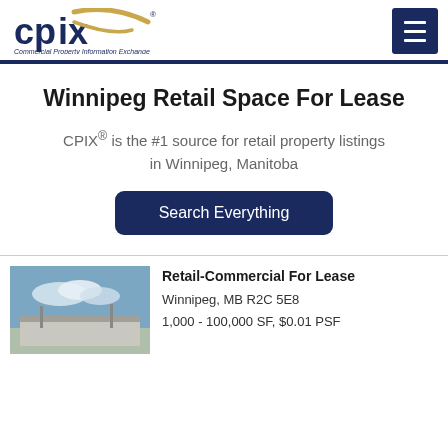[Figure (logo): CPIX Commercial Property Information Exchange logo with navy blue text and gold swoosh]
Winnipeg Retail Space For Lease
CPIX® is the #1 source for retail property listings in Winnipeg, Manitoba
Search Everything
Retail-Commercial For Lease
Winnipeg, MB R2C 5E8
1,000 - 100,000 SF, $0.01 PSF